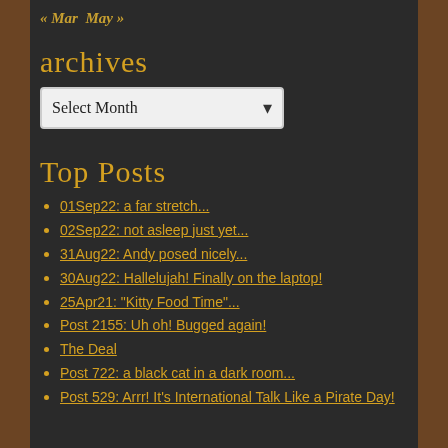« Mar   May »
archives
Select Month
Top Posts
01Sep22: a far stretch...
02Sep22: not asleep just yet...
31Aug22: Andy posed nicely...
30Aug22: Hallelujah! Finally on the laptop!
25Apr21: "Kitty Food Time"...
Post 2155: Uh oh! Bugged again!
The Deal
Post 722: a black cat in a dark room...
Post 529: Arrr! It's International Talk Like a Pirate Day!